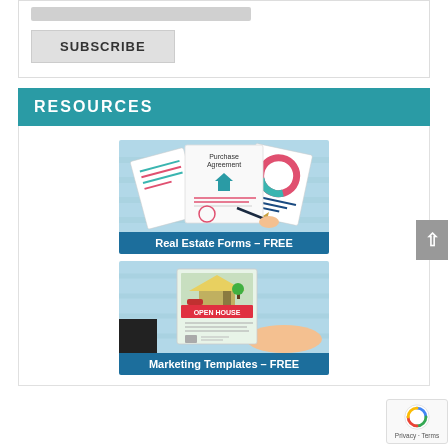[Figure (screenshot): Subscribe button section with email input field and SUBSCRIBE button on grey background]
RESOURCES
[Figure (illustration): Real Estate Forms – FREE: Illustration showing purchase agreement documents with a pen signing, teal background, with label 'Real Estate Forms – FREE']
[Figure (illustration): Marketing Templates – FREE: Illustration showing an open house flyer being held out in a hand, teal background, with label 'Marketing Templates – FREE']